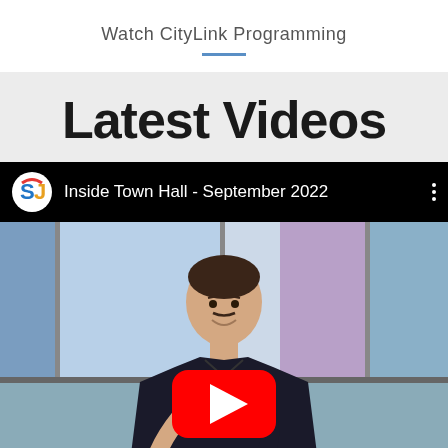Watch CityLink Programming
Latest Videos
[Figure (screenshot): YouTube video thumbnail for 'Inside Town Hall - September 2022' showing a person in a police officer uniform sitting in a TV studio with blue background panels, with a YouTube play button overlay. Channel icon shows stylized 'SJ' letters in blue, red, and gold colors.]